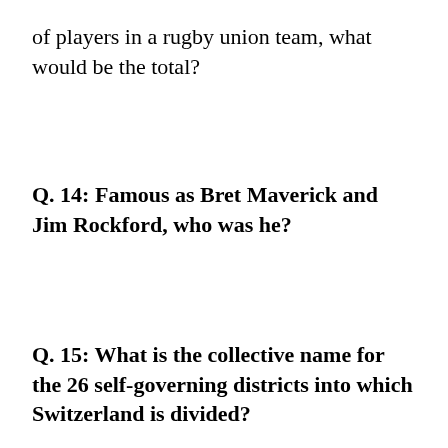of players in a rugby union team, what would be the total?
Q.  14: Famous as Bret Maverick and Jim Rockford, who was he?
Q.  15: What is the collective name for the 26 self-governing districts into which Switzerland is divided?